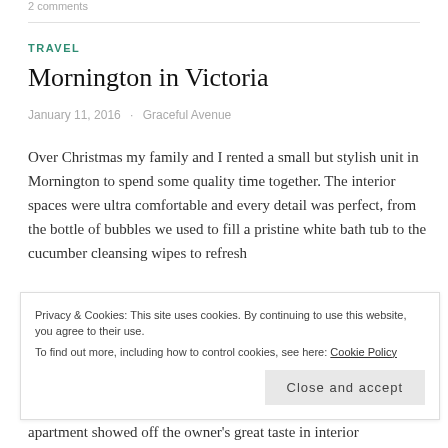2 comments
TRAVEL
Mornington in Victoria
January 11, 2016   Graceful Avenue
Over Christmas my family and I rented a small but stylish unit in Mornington to spend some quality time together. The interior spaces were ultra comfortable and every detail was perfect, from the bottle of bubbles we used to fill a pristine white bath tub to the cucumber cleansing wipes to refresh
Privacy & Cookies: This site uses cookies. By continuing to use this website, you agree to their use.
To find out more, including how to control cookies, see here: Cookie Policy
Close and accept
apartment showed off the owner's great taste in interior